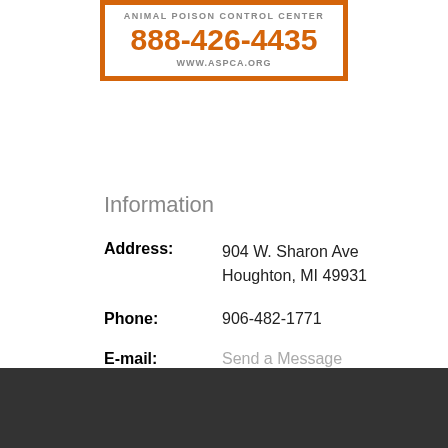[Figure (logo): ASPCA Animal Poison Control Center box with orange border showing phone number 888-426-4435 and website www.aspca.org]
Information
Address: 904 W. Sharon Ave Houghton, MI 49931
Phone: 906-482-1771
E-mail: Send a Message